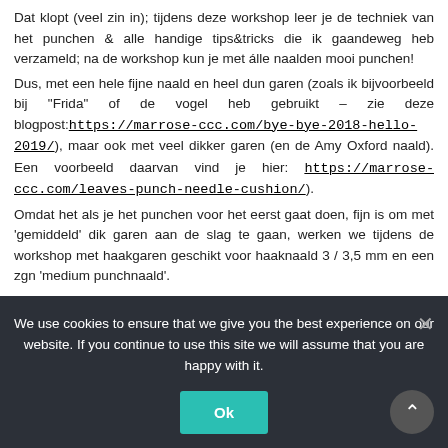Dat klopt (veel zin in); tijdens deze workshop leer je de techniek van het punchen & alle handige tips&tricks die ik gaandeweg heb verzameld; na de workshop kun je met álle naalden mooi punchen!
Dus, met een hele fijne naald en heel dun garen (zoals ik bijvoorbeeld bij "Frida" of de vogel heb gebruikt – zie deze blogpost: https://marrose-ccc.com/bye-bye-2018-hello-2019/), maar ook met veel dikker garen (en de Amy Oxford naald). Een voorbeeld daarvan vind je hier: https://marrose-ccc.com/leaves-punch-needle-cushion/).
Omdat het als je het punchen voor het eerst gaat doen, fijn is om met 'gemiddeld' dik garen aan de slag te gaan, werken we tijdens de workshop met haakgaren geschikt voor haaknaald 3 / 3,5 mm en een zgn 'medium punchnaald'.
Hartelijke groet, Marianne xx
We use cookies to ensure that we give you the best experience on our website. If you continue to use this site we will assume that you are happy with it.